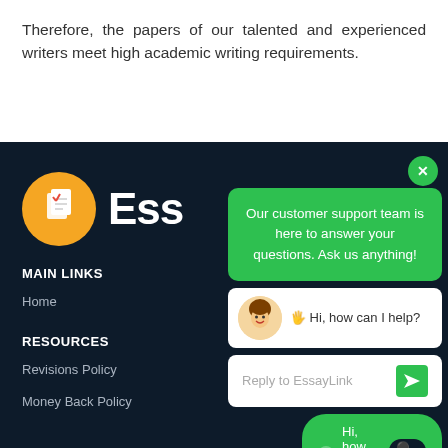Therefore, the papers of our talented and experienced writers meet high academic writing requirements.
[Figure (screenshot): Website footer with dark navy background showing logo, navigation links (MAIN LINKS: Home, RESOURCES: Revisions Policy, Money Back Policy), overlaid by a customer support chat widget with green header saying 'Our customer support team is here to answer your questions. Ask us anything!', avatar with greeting 'Hi, how can I help?', reply input box, and WhatsApp chat button.]